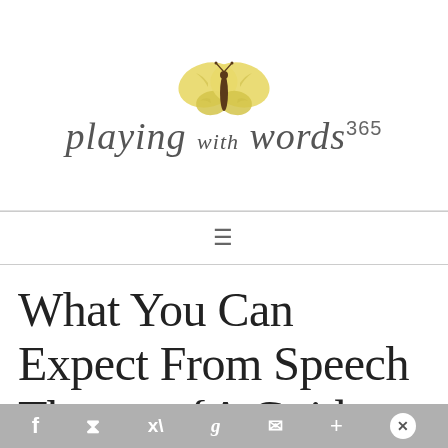[Figure (logo): Playing with Words 365 logo featuring a yellow butterfly above stylized script text reading 'playing with words 365']
[Figure (other): Navigation bar with hamburger menu icon (three horizontal lines)]
What You Can Expect From Speech Therapy {A Guide for Parents}
[Figure (other): Social sharing toolbar at bottom with Facebook, Pinterest, Twitter, Google+, email, and add icons, plus a close button]